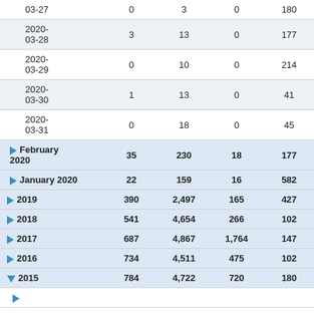| Date | Col1 | Col2 | Col3 | Col4 | Col5 |
| --- | --- | --- | --- | --- | --- |
| 03-27 | 0 | 3 | 0 | 180 | 9,497 |
| 2020-03-28 | 3 | 13 | 0 | 177 | 11,269 |
| 2020-03-29 | 0 | 10 | 0 | 214 | 8,854 |
| 2020-03-30 | 1 | 13 | 0 | 41 | 5,480 |
| 2020-03-31 | 0 | 18 | 0 | 45 | 6,254 |
| ▶ February 2020 | 35 | 230 | 18 | 177 | 341,075 |
| ▶ January 2020 | 22 | 159 | 16 | 582 | 189,094 |
| ▶ 2019 | 390 | 2,497 | 165 | 427 | 3,775,141 |
| ▶ 2018 | 541 | 4,654 | 266 | 102 | 4,871,216 |
| ▶ 2017 | 687 | 4,867 | 1,764 | 147 | 4,990,517 |
| ▶ 2016 | 734 | 4,511 | 475 | 102 | 3,081,599 |
| ▼ 2015 | 784 | 4,722 | 720 | 180 | 3,912,713 |
| ▶ |  |  |  |  |  |